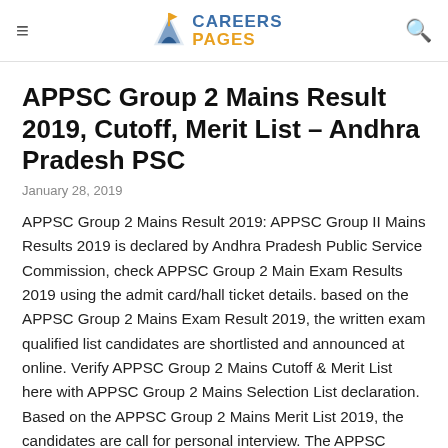CAREERS PAGES
APPSC Group 2 Mains Result 2019, Cutoff, Merit List – Andhra Pradesh PSC
January 28, 2019
APPSC Group 2 Mains Result 2019: APPSC Group II Mains Results 2019 is declared by Andhra Pradesh Public Service Commission, check APPSC Group 2 Main Exam Results 2019 using the admit card/hall ticket details. based on the APPSC Group 2 Mains Exam Result 2019, the written exam qualified list candidates are shortlisted and announced at online. Verify APPSC Group 2 Mains Cutoff & Merit List here with APPSC Group 2 Mains Selection List declaration. Based on the APPSC Group 2 Mains Merit List 2019, the candidates are call for personal interview. The APPSC Group 2 Interview Result 2019 list candidates are shortlisted for APPSC Group 2 Final Selection 2019. Check APPSC Group II Final